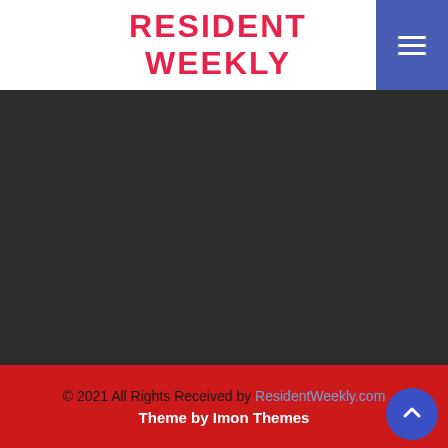RESIDENT WEEKLY
[Figure (other): Dark gray background section filling the main content area]
© 2021 All Rights Received by ResidentWeekly.com
Theme by Imon Themes